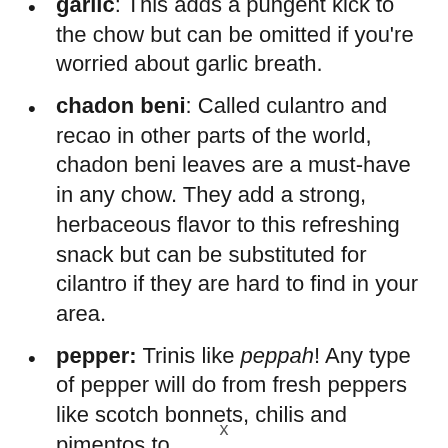garlic: This adds a pungent kick to the chow but can be omitted if you're worried about garlic breath.
chadon beni: Called culantro and recao in other parts of the world, chadon beni leaves are a must-have in any chow. They add a strong, herbaceous flavor to this refreshing snack but can be substituted for cilantro if they are hard to find in your area.
pepper: Trinis like peppah! Any type of pepper will do from fresh peppers like scotch bonnets, chilis and pimentos to
x